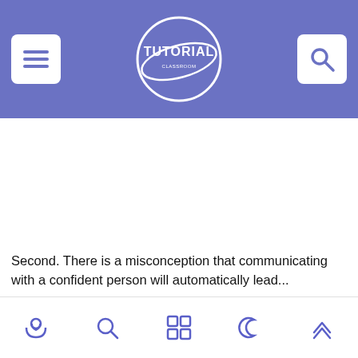TUTORIAL (logo/header navigation bar)
[Figure (other): Large white advertisement/content placeholder area in the middle of the page]
Second. There is a misconception that communicating with a confident person will automatically lead...
Bottom navigation bar with home, search, grid, moon, and up-arrow icons